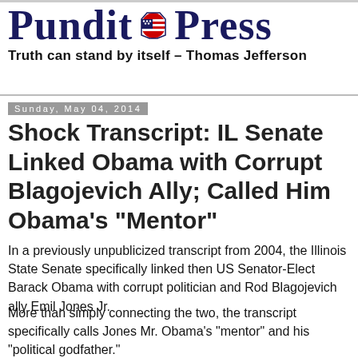Pundit Press
Truth can stand by itself – Thomas Jefferson
Sunday, May 04, 2014
Shock Transcript: IL Senate Linked Obama with Corrupt Blagojevich Ally; Called Him Obama's "Mentor"
In a previously unpublicized transcript from 2004, the Illinois State Senate specifically linked then US Senator-Elect Barack Obama with corrupt politician and Rod Blagojevich ally Emil Jones Jr.
More than simply connecting the two, the transcript specifically calls Jones Mr. Obama's "mentor" and his "political godfather."
The transcript was written on November 8, 2004, soon after